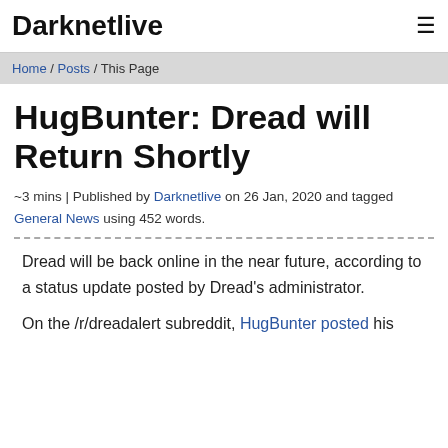Darknetlive
Home / Posts / This Page
HugBunter: Dread will Return Shortly
~3 mins | Published by Darknetlive on 26 Jan, 2020 and tagged General News using 452 words.
Dread will be back online in the near future, according to a status update posted by Dread's administrator.
On the /r/dreadalert subreddit, HugBunter posted his